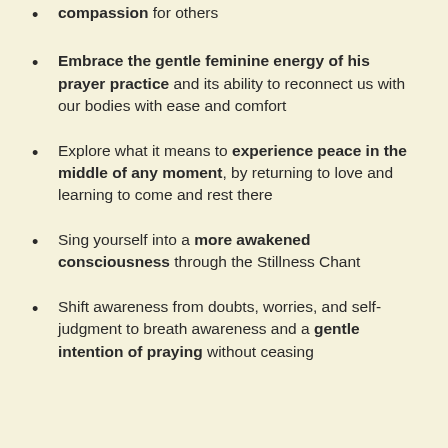compassion for others
Embrace the gentle feminine energy of his prayer practice and its ability to reconnect us with our bodies with ease and comfort
Explore what it means to experience peace in the middle of any moment, by returning to love and learning to come and rest there
Sing yourself into a more awakened consciousness through the Stillness Chant
Shift awareness from doubts, worries, and self-judgment to breath awareness and a gentle intention of praying without ceasing